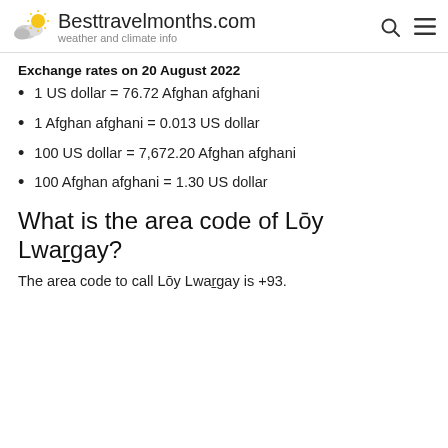Besttravelmonths.com — weather and climate info
Exchange rates on 20 August 2022
1 US dollar = 76.72 Afghan afghani
1 Afghan afghani = 0.013 US dollar
100 US dollar = 7,672.20 Afghan afghani
100 Afghan afghani = 1.30 US dollar
What is the area code of Lōy Lwargay?
The area code to call Lōy Lwargay is +93.